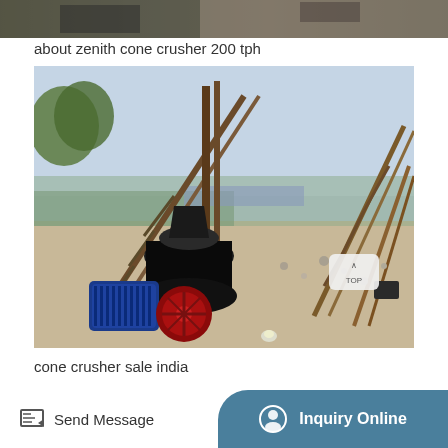[Figure (photo): Partial view of industrial machinery at top of page, cropped]
about zenith cone crusher 200 tph
[Figure (photo): Outdoor industrial site showing a cone crusher with conveyor belts on metal frames, rocky ground, with a blue electric motor and red flywheel visible in the foreground. A 'TOP' navigation button overlaid in bottom-right corner of the image.]
cone crusher sale india
Send Message
Inquiry Online